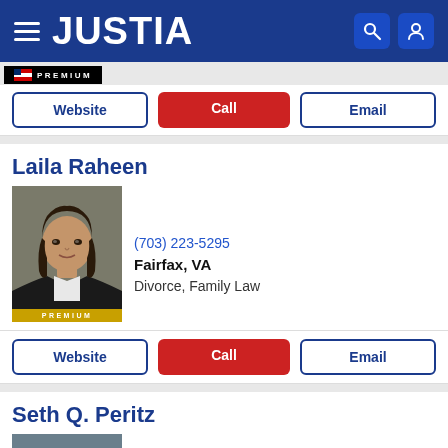JUSTIA
[Figure (photo): Premium badge strip at top with flag icon]
Website | Call | Email (action buttons)
Laila Raheen
[Figure (photo): Professional headshot of Laila Raheen, a woman with long dark hair wearing a black blazer, with PREMIUM badge below]
(703) 223-5295
Fairfax, VA
Divorce, Family Law
Website | Call | Email (action buttons)
Seth Q. Peritz
[Figure (photo): Professional headshot of Seth Q. Peritz, a man with dark beard smiling, wearing a dark suit]
(703) 337-3773
Fairfax, VA